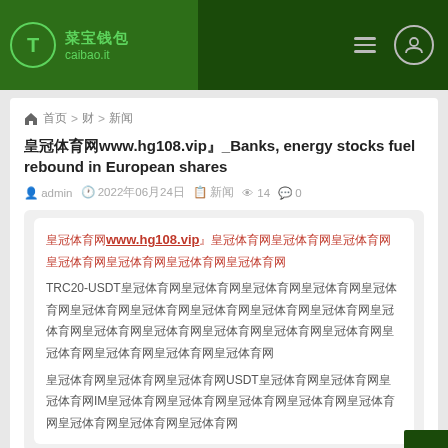菜宝钱包 caibao.it
🏠 首页 > 财 > 新闻
皇冠体育网www.hg108.vip』_Banks, energy stocks fuel rebound in European shares
admin  2022年06月24日  新闻  14  0
皇冠体育网www.hg108.vip』皇冠体育网皇冠体育网皇冠体育网皇冠体育网皇冠体育网皇冠体育网皇冠体育网 TRC20-USDT皇冠体育网皇冠体育网皇冠体育网皇冠体育网皇冠体育网皇冠体育网皇冠体育网皇冠体育网皇冠体育网皇冠体育网皇冠体育网皇冠体育网皇冠体育网皇冠体育网皇冠体育网皇冠体育网皇冠体育网皇冠体育网皇冠体育网USDT皇冠体育网皇冠体育网皇冠体育网IM皇冠体育网皇冠体育网皇冠体育网皇冠体育网皇冠体育网皇冠体育网皇冠体育网皇冠体育网
,European Central Bank Chief Christine Lagarde on Monday reaffirmed plans to raise interest rates twice this